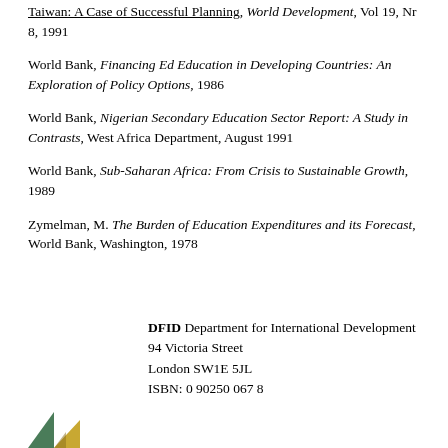Taiwan: A Case of Successful Planning, World Development, Vol 19, Nr 8, 1991
World Bank, Financing Ed Education in Developing Countries: An Exploration of Policy Options, 1986
World Bank, Nigerian Secondary Education Sector Report: A Study in Contrasts, West Africa Department, August 1991
World Bank, Sub-Saharan Africa: From Crisis to Sustainable Growth, 1989
Zymelman, M. The Burden of Education Expenditures and its Forecast, World Bank, Washington, 1978
DFID Department for International Development
94 Victoria Street
London SW1E 5JL
ISBN: 0 90250 067 8
[Figure (logo): DFID coloured triangular logo mark in green and yellow/gold]